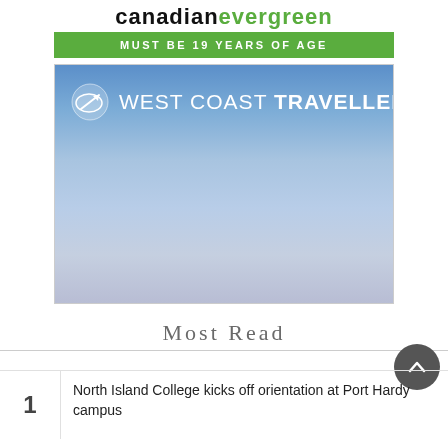[Figure (logo): Canadian Evergreen logo banner with green bar reading MUST BE 19 YEARS OF AGE]
[Figure (logo): West Coast Traveller advertisement with blue-to-grey gradient background and logo]
Most Read
1 North Island College kicks off orientation at Port Hardy campus